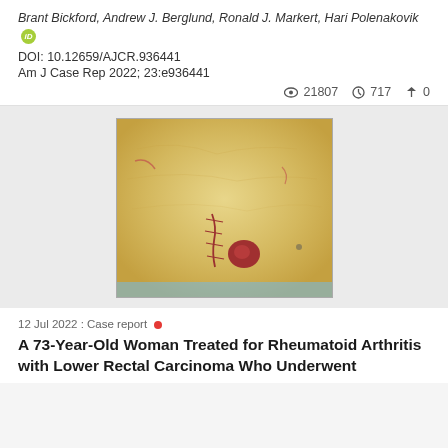Brant Bickford, Andrew J. Berglund, Ronald J. Markert, Hari Polenakovik [ORCID]
DOI: 10.12659/AJCR.936441
Am J Case Rep 2022; 23:e936441
👁 21807  ⊕ 717  ⇑ 0
[Figure (photo): Surgical specimen photograph showing excised tissue (likely rectal/bowel specimen) with a visible tumor/nodule and suture lines, placed on a yellow surgical drape background.]
12 Jul 2022 : Case report •
A 73-Year-Old Woman Treated for Rheumatoid Arthritis with Lower Rectal Carcinoma Who Underwent